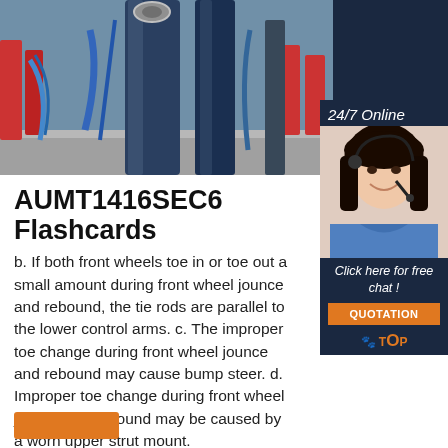[Figure (photo): Industrial auto shop machinery photo — blue hydraulic lift poles, red equipment in background, garage floor]
[Figure (photo): Customer service representative woman with headset, smiling, blue shirt, with '24/7 Online' text and 'Click here for free chat!' button and QUOTATION button]
AUMT1416SEC6 Flashcards
b. If both front wheels toe in or toe out a small amount during front wheel jounce and rebound, the tie rods are parallel to the lower control arms. c. The improper toe change during front wheel jounce and rebound may cause bump steer. d. Improper toe change during front wheel jounce and rebound may be caused by a worn upper strut mount.